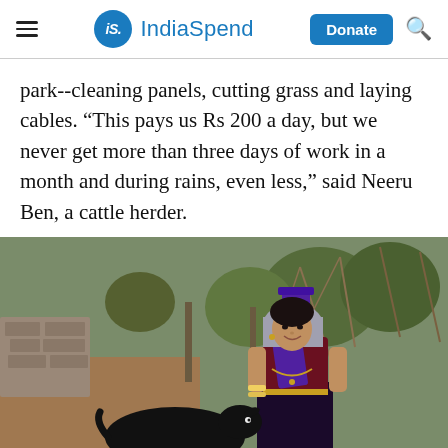IndiaSpend
park--cleaning panels, cutting grass and laying cables. “This pays us Rs 200 a day, but we never get more than three days of work in a month and during rains, even less,” said Neeru Ben, a cattle herder.
[Figure (photo): A woman dressed in traditional Indian attire (maroon and purple) with a grey head covering and jewelry, standing outdoors near a black goat. She is smiling. The background shows a rural outdoor setting with dried branches, stone walls, and trees.]